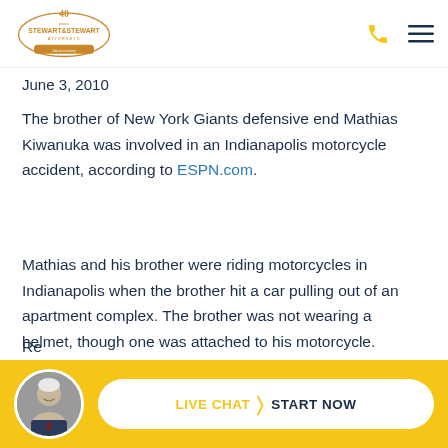[Figure (logo): Stewart & Stewart Attorneys 40th Anniversary logo in gold/brown oval with decorative border]
June 3, 2010
The brother of New York Giants defensive end Mathias Kiwanuka was involved in an Indianapolis motorcycle accident, according to ESPN.com.
Mathias and his brother were riding motorcycles in Indianapolis when the brother hit a car pulling out of an apartment complex. The brother was not wearing a helmet, though one was attached to his motorcycle.
Re...e
[Figure (photo): Circular avatar photo of an elderly man in a suit with a tie, smiling]
LIVE CHAT  START NOW